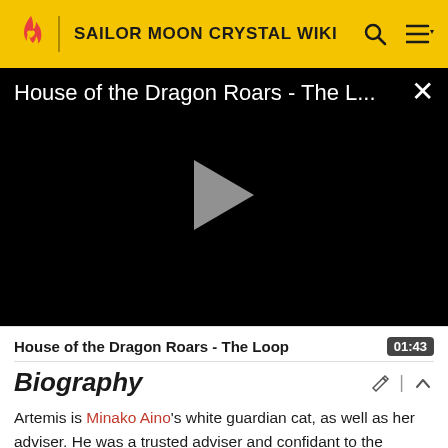SAILOR MOON CRYSTAL WIKI
[Figure (screenshot): Video player showing 'House of the Dragon Roars - The L...' with a play button on black background and a close (X) button]
House of the Dragon Roars - The Loop  01:43
Biography
Artemis is Minako Aino's white guardian cat, as well as her adviser. He was a trusted adviser and confidant to the